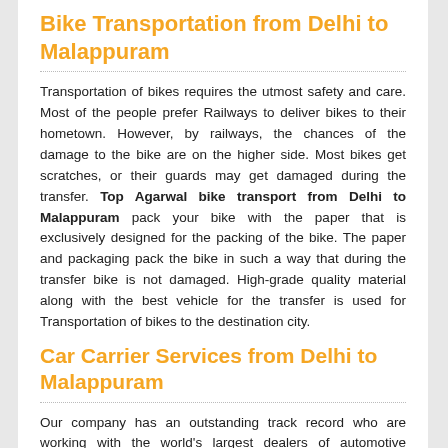Bike Transportation from Delhi to Malappuram
Transportation of bikes requires the utmost safety and care. Most of the people prefer Railways to deliver bikes to their hometown. However, by railways, the chances of the damage to the bike are on the higher side. Most bikes get scratches, or their guards may get damaged during the transfer. Top Agarwal bike transport from Delhi to Malappuram pack your bike with the paper that is exclusively designed for the packing of the bike. The paper and packaging pack the bike in such a way that during the transfer bike is not damaged. High-grade quality material along with the best vehicle for the transfer is used for Transportation of bikes to the destination city.
Car Carrier Services from Delhi to Malappuram
Our company has an outstanding track record who are working with the world's largest dealers of automotive industries. As a mediator, we create a vital link between these leading firms who can trust us and our role and responsibilities to steady supplies of shipping cars. According to the series, our experts understand the needs of automotive logistics and manufacturers who want to ship their cars at